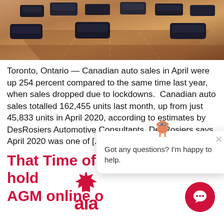[Figure (photo): Aerial/elevated view of a highway with multiple cars and trucks in warm sunset lighting]
Toronto, Ontario — Canadian auto sales in April were up 254 percent compared to the same time last year, when sales dropped due to lockdowns. Canadian auto sales totalled 162,455 units last month, up from just 45,833 units in April 2020, according to estimates by DesRosiers Automotive Consultants. DesRosiers says April 2020 was one of [...]
That Time of Year: AIA to hold AGM online o
[Figure (logo): AIA Canada logo with red maple leaf and red 'aia' text]
[Figure (other): Chat widget overlay with mascot and text: Got any questions? I'm happy to help.]